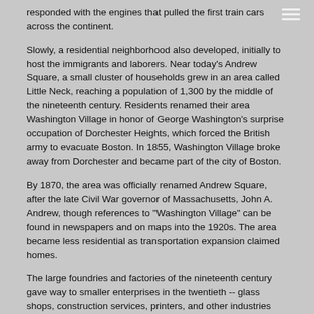responded with the engines that pulled the first train cars across the continent.
Slowly, a residential neighborhood also developed, initially to host the immigrants and laborers. Near today's Andrew Square, a small cluster of households grew in an area called Little Neck, reaching a population of 1,300 by the middle of the nineteenth century. Residents renamed their area Washington Village in honor of George Washington's surprise occupation of Dorchester Heights, which forced the British army to evacuate Boston. In 1855, Washington Village broke away from Dorchester and became part of the city of Boston.
By 1870, the area was officially renamed Andrew Square, after the late Civil War governor of Massachusetts, John A. Andrew, though references to "Washington Village" can be found in newspapers and on maps into the 1920s. The area became less residential as transportation expansion claimed homes.
The large foundries and factories of the nineteenth century gave way to smaller enterprises in the twentieth -- glass shops, construction services, printers, and other industries that helped keep the Boston economy working. This century, the city's population surged as newer industries brought jobs and residents back to the city. Once again, the neighborhood's proximity to the city and easy access to existing transportation options has attracted interest and resulted in growth.